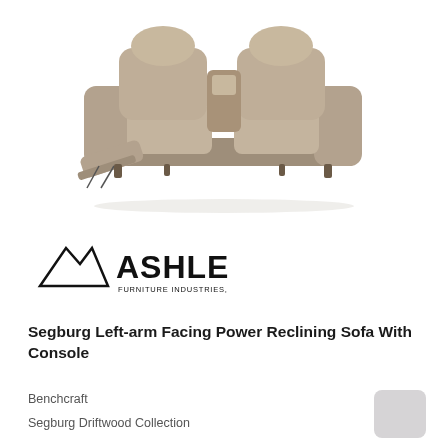[Figure (photo): A tan/driftwood colored reclining loveseat sofa with console, shown at an angle with left arm recliner extended, center console visible between the two seats.]
[Figure (logo): Ashley Furniture Industries, LLC logo — mountain peaks icon with 'ASHLEY' in bold uppercase letters and 'FURNITURE INDUSTRIES, LLC' in smaller text below.]
Segburg Left-arm Facing Power Reclining Sofa With Console
Benchcraft
Segburg Driftwood Collection